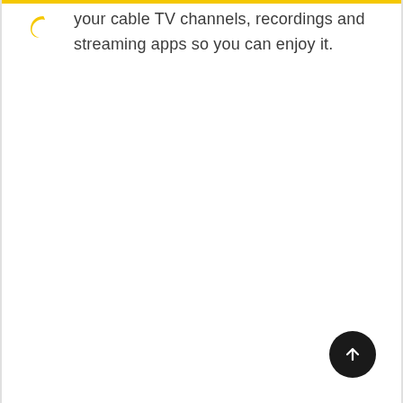your cable TV channels, recordings and streaming apps so you can enjoy it.
[Figure (illustration): A yellow crescent moon icon on the left side of the page]
[Figure (illustration): A dark circular button with an upward arrow (back to top button) at the bottom right corner]